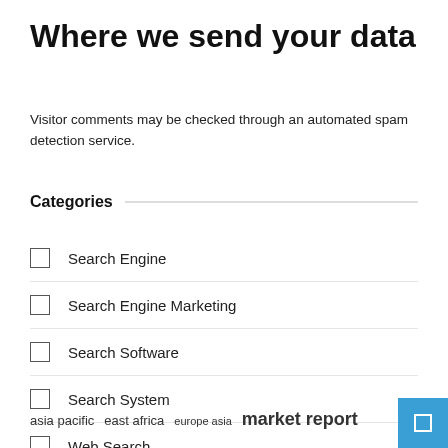Where we send your data
Visitor comments may be checked through an automated spam detection service.
Categories
Search Engine
Search Engine Marketing
Search Software
Search System
Web Search
asia pacific  east africa  europe asia  market report